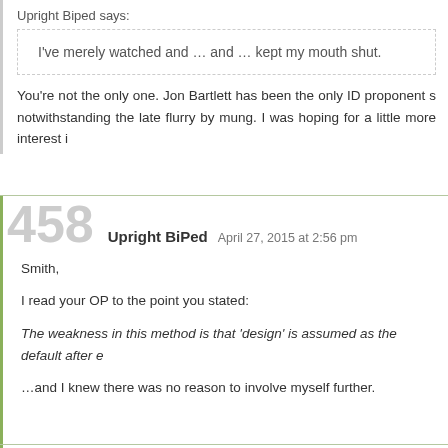Upright Biped says:
I've merely watched and … and … kept my mouth shut.
You're not the only one. Jon Bartlett has been the only ID proponent s notwithstanding the late flurry by mung. I was hoping for a little more interest i
458   Upright BiPed   April 27, 2015 at 2:56 pm
Smith,
I read your OP to the point you stated:
The weakness in this method is that 'design' is assumed as the default after e
…and I knew there was no reason to involve myself further.
459   Aurelio Smith   April 27, 2015 at 2:58 pm
To the mods, assuming anyone tends to housekeeping here,